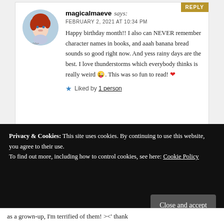magicalmaeve says:
FEBRUARY 2, 2021 AT 10:34 PM
Happy birthday month!! I also can NEVER remember character names in books, and aaah banana bread sounds so good right now. And yess rainy days are the best. I love thunderstorms which everybody thinks is really weird 😜. This was so fun to read! ❤️
Liked by 1 person
Leyanis @ thebloggerandthegeek says:
Privacy & Cookies: This site uses cookies. By continuing to use this website, you agree to their use.
To find out more, including how to control cookies, see here: Cookie Policy
Close and accept
as a grown-up, I'm terrified of them! ><' thank